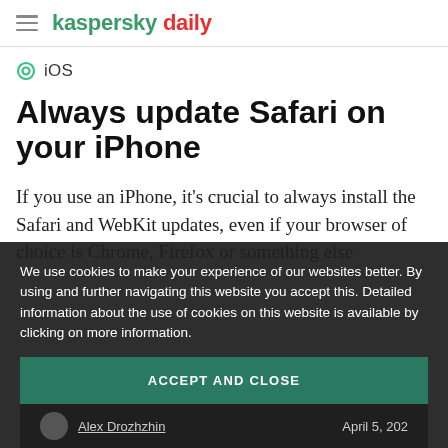kaspersky daily
iOS
Always update Safari on your iPhone
If you use an iPhone, it's crucial to always install the Safari and WebKit updates, even if your browser of choice is Chrome, Firefox or something else
We use cookies to make your experience of our websites better. By using and further navigating this website you accept this. Detailed information about the use of cookies on this website is available by clicking on more information.
ACCEPT AND CLOSE
Alex Drozhzhin    April 5, 202